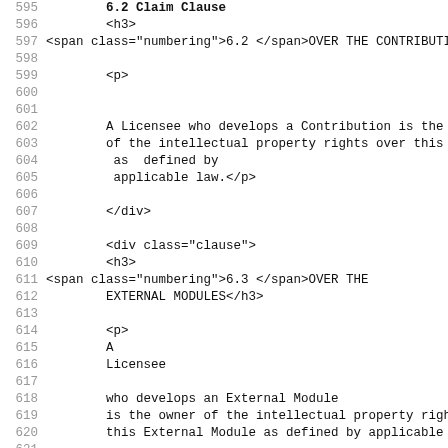Source code listing lines 595-627, showing HTML structure of a legal license document with clauses 6.2 and 6.3 covering intellectual property rights over contributions and external modules.